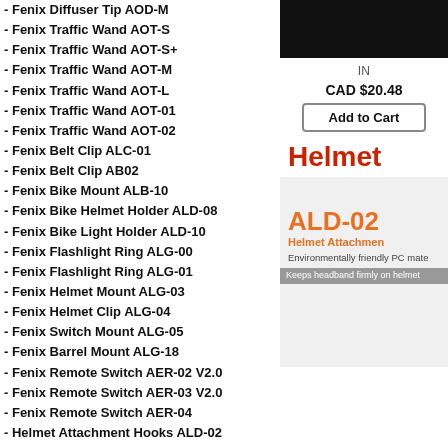- Fenix Diffuser Tip AOD-M
- Fenix Traffic Wand AOT-S
- Fenix Traffic Wand AOT-S+
- Fenix Traffic Wand AOT-M
- Fenix Traffic Wand AOT-L
- Fenix Traffic Wand AOT-01
- Fenix Traffic Wand AOT-02
- Fenix Belt Clip ALC-01
- Fenix Belt Clip AB02
- Fenix Bike Mount ALB-10
- Fenix Bike Helmet Holder ALD-08
- Fenix Bike Light Holder ALD-10
- Fenix Flashlight Ring ALG-00
- Fenix Flashlight Ring ALG-01
- Fenix Helmet Mount ALG-03
- Fenix Helmet Clip ALG-04
- Fenix Switch Mount ALG-05
- Fenix Barrel Mount ALG-18
- Fenix Remote Switch AER-02 V2.0
- Fenix Remote Switch AER-03 V2.0
- Fenix Remote Switch AER-04
- Helmet Attachment Hooks ALD-02
- Headlamp Storage Bag APB-20
IN
CAD $20.48
Add to Cart
Helmet
[Figure (other): Product image area showing ALD-02 Helmet Attachment product with orange title text, subtitle 'Helmet Attachmen...' and description 'Environmentally friendly PC mate...' and feature bar 'Keeps headband firmly on helmet']